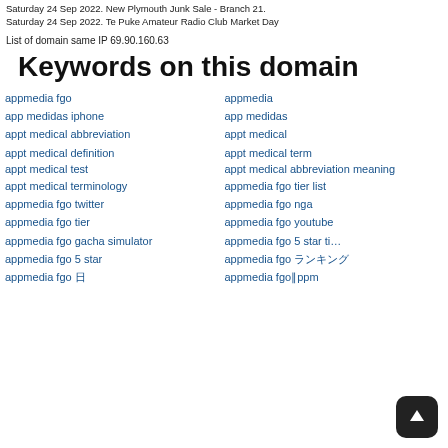Saturday 24 Sep 2022. New Plymouth Junk Sale - Branch 21. Saturday 24 Sep 2022. Te Puke Amateur Radio Club Market Day
List of domain same IP 69.90.160.63
Keywords on this domain
appmedia fgo
appmedia
app medidas iphone
app medidas
appt medical abbreviation
appt medical
appt medical definition
appt medical term
appt medical test
appt medical abbreviation meaning
appt medical terminology
appmedia fgo tier list
appmedia fgo twitter
appmedia fgo nga
appmedia fgo tier
appmedia fgo youtube
appmedia fgo gacha simulator
appmedia fgo 5 star tier list
appmedia fgo 5 star
appmedia fgo ランキング
appmedia fgo 日
appmedia fgo∥ppm